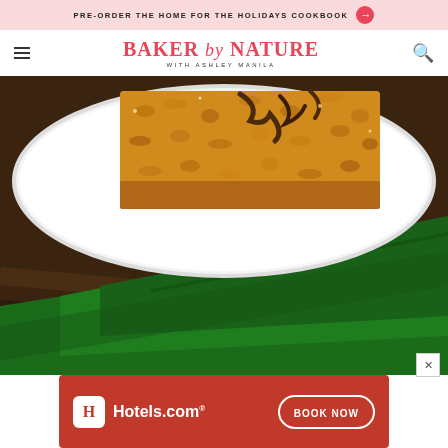PRE-ORDER THE HOME FOR THE HOLIDAYS COOKBOOK →
BAKER by NATURE WITH ASHLEY MANILA
[Figure (photo): Close-up of a peanut butter cereal bar with chocolate drizzle on a white plate, placed on a green cloth napkin on a rustic wooden surface.]
[Figure (other): Hotels.com advertisement banner with BOOK NOW button]